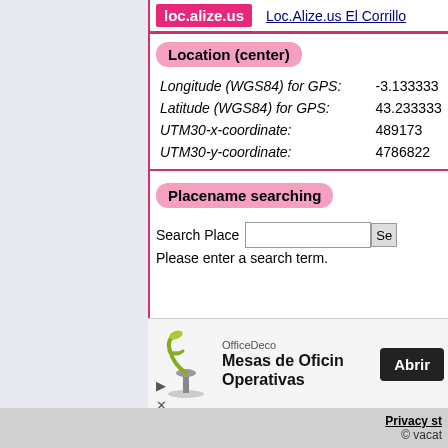[Figure (logo): loc.alize.us logo in pink/magenta box]
Loc.Alize.us El Corrillo
Location (center)
| Longitude (WGS84) for GPS: | -3.133333 |
| Latitude (WGS84) for GPS: | 43.233333 |
| UTM30-x-coordinate: | 489173 |
| UTM30-y-coordinate: | 4786822 |
Placename searching
Search Place
Please enter a search term.
[Figure (screenshot): OfficeDeco advertisement showing Mesas de Oficina Operativas with lamp image and Abrir button]
Privacy st... © vacat...